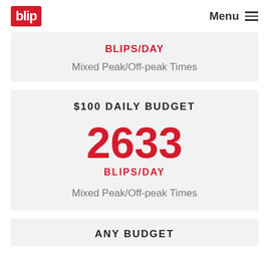blip | Menu
BLIPS/DAY
Mixed Peak/Off-peak Times
$100 DAILY BUDGET
2633
BLIPS/DAY
Mixed Peak/Off-peak Times
ANY BUDGET